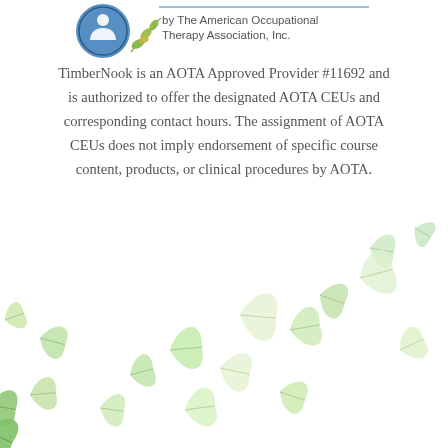[Figure (logo): AOTA Approved Provider logo with circular blue emblem and olive branch, with text 'by The American Occupational Therapy Association, Inc.']
TimberNook is an AOTA Approved Provider #11692 and is authorized to offer the designated AOTA CEUs and corresponding contact hours. The assignment of AOTA CEUs does not imply endorsement of specific course content, products, or clinical procedures by AOTA.
[Figure (illustration): Decorative scattered green and light green leaf illustrations across the bottom portion of the page]